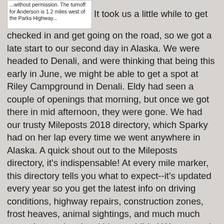[Figure (other): Partial image of a printed text excerpt, partially cut off, reading: '...without permission. The [turnoff/turnout] for Anderson is 1.2 miles west of the Parks Highway...']
It took us a little while to get checked in and get going on the road, so we got a late start to our second day in Alaska. We were headed to Denali, and were thinking that being this early in June, we might be able to get a spot at Riley Campground in Denali. Eldy had seen a couple of openings that morning, but once we got there in mid afternoon, they were gone. We had our trusty Mileposts 2018 directory, which Sparky had on her lap every time we went anywhere in Alaska. A quick shout out to the Mileposts directory, it's indispensable! At every mile marker, this directory tells you what to expect--it's updated every year so you get the latest info on driving conditions, highway repairs, construction zones, frost heaves, animal sightings, and much much more. It even has local history tidbits! We stopped at Mile Marker (MM) 174, because Mileposts said it was Hurricane Gulch. Oh, wow! It was quite the view! There was still snow in